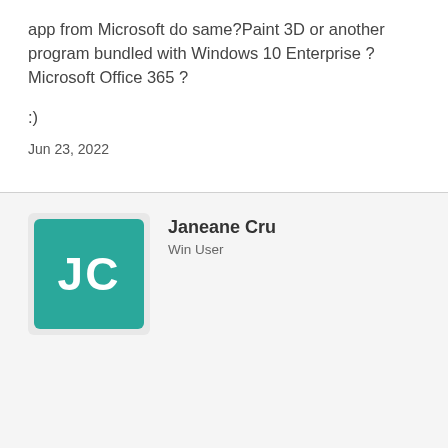app from Microsoft do same?Paint 3D or another program bundled with Windows 10 Enterprise ? Microsoft Office 365 ?
:)
Jun 23, 2022
Janeane Cru
Win User